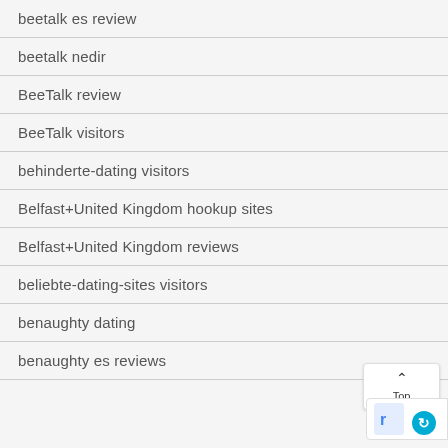beetalk es review
beetalk nedir
BeeTalk review
BeeTalk visitors
behinderte-dating visitors
Belfast+United Kingdom hookup sites
Belfast+United Kingdom reviews
beliebte-dating-sites visitors
benaughty dating
benaughty es reviews